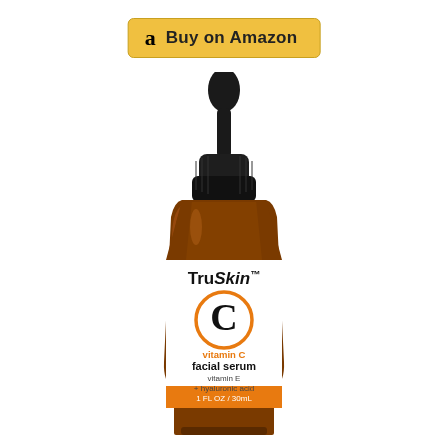[Figure (illustration): Amazon 'Buy on Amazon' button with orange/gold background and Amazon 'a' logo]
[Figure (photo): TruSkin Vitamin C Facial Serum product bottle - amber glass dropper bottle with white label showing brand name TruSkin, large orange letter C, text 'vitamin C facial serum vitamin E + hyaluronic acid 1 FL OZ / 30mL', orange stripe at bottom, black dropper cap]